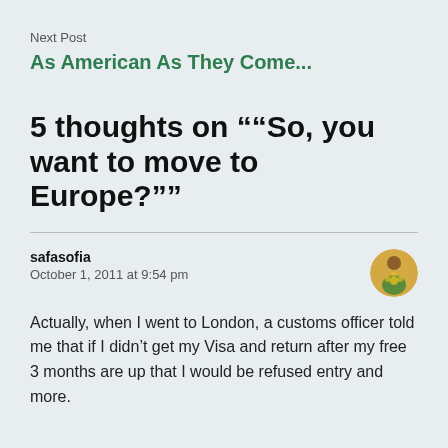Next Post
As American As They Come...
5 thoughts on "“So, you want to move to Europe?”"
safasofia
October 1, 2011 at 9:54 pm
Actually, when I went to London, a customs officer told me that if I didn't get my Visa and return after my free 3 months are up that I would be refused entry and more.